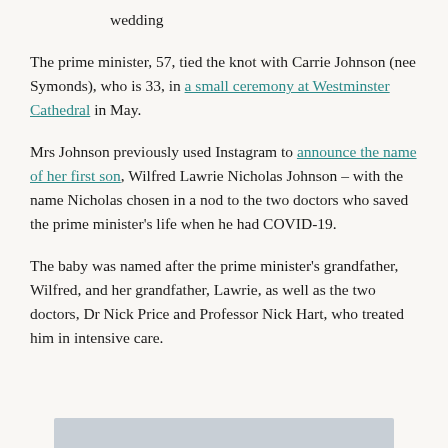wedding
The prime minister, 57, tied the knot with Carrie Johnson (nee Symonds), who is 33, in a small ceremony at Westminster Cathedral in May.
Mrs Johnson previously used Instagram to announce the name of her first son, Wilfred Lawrie Nicholas Johnson – with the name Nicholas chosen in a nod to the two doctors who saved the prime minister's life when he had COVID-19.
The baby was named after the prime minister's grandfather, Wilfred, and her grandfather, Lawrie, as well as the two doctors, Dr Nick Price and Professor Nick Hart, who treated him in intensive care.
[Figure (photo): Partial image visible at bottom of page, light gray/blue rectangle suggesting a photo cutoff]